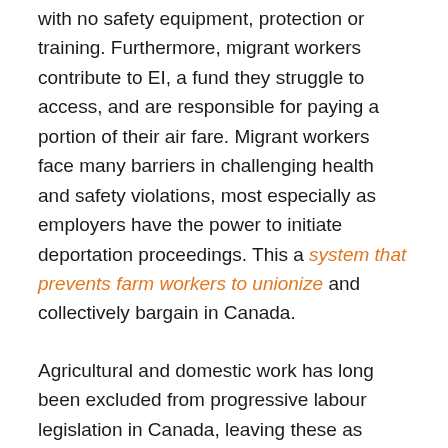with no safety equipment, protection or training. Furthermore, migrant workers contribute to EI, a fund they struggle to access, and are responsible for paying a portion of their air fare. Migrant workers face many barriers in challenging health and safety violations, most especially as employers have the power to initiate deportation proceedings. This a system that prevents farm workers to unionize and collectively bargain in Canada.
Agricultural and domestic work has long been excluded from progressive labour legislation in Canada, leaving these as some of the least desirable forms of work, with low pay and few benefits and workplace rights. Rather than raise the working standards within these occupation groups, a